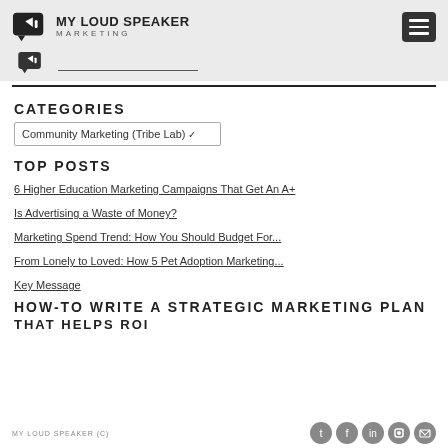MY LOUD SPEAKER MARKETING
CATEGORIES
Community Marketing (Tribe Lab)
TOP POSTS
6 Higher Education Marketing Campaigns That Get An A+
Is Advertising a Waste of Money?
Marketing Spend Trend: How You Should Budget For...
From Lonely to Loved: How 5 Pet Adoption Marketing...
Key Message
HOW-TO WRITE A STRATEGIC MARKETING PLAN THAT HELPS ROI
MY LOUD SPEAKER (C)